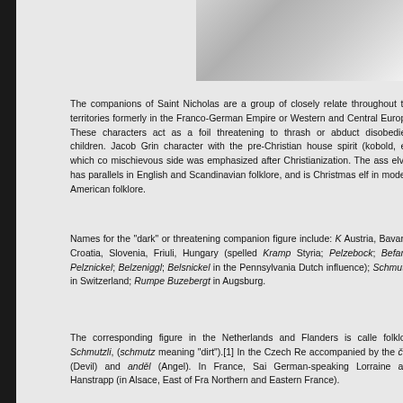[Figure (photo): Black and white photograph, partially visible at top right of page, showing figures in snow]
The companions of Saint Nicholas are a group of closely related throughout the territories formerly in the Franco-German Empire or Western and Central Europe. These characters act as a foil threatening to thrash or abduct disobedient children. Jacob Grim character with the pre-Christian house spirit (kobold, elf) which co mischievous side was emphasized after Christianization. The ass elves has parallels in English and Scandinavian folklore, and is Christmas elf in modern American folklore.
Names for the "dark" or threatening companion figure include: Austria, Bavaria, Croatia, Slovenia, Friuli, Hungary (spelled Kramp Styria; Pelzebock; Befana; Pelznickel; Belzeniggl; Belsnickel in the Pennsylvania Dutch influence); Schmutzli in Switzerland; Rumpe Buzebergt in Augsburg.
The corresponding figure in the Netherlands and Flanders is calle folklore Schmutzli, (schmutz meaning "dirt").[1] In the Czech Re accompanied by the čert (Devil) and anděl (Angel). In France, Sai German-speaking Lorraine and Hanstrapp (in Alsace, East of Fra Northern and Eastern France).